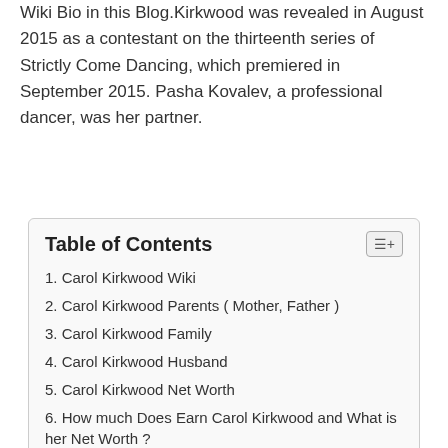Wiki Bio in this Blog.Kirkwood was revealed in August 2015 as a contestant on the thirteenth series of Strictly Come Dancing, which premiered in September 2015. Pasha Kovalev, a professional dancer, was her partner.
Table of Contents
1. Carol Kirkwood Wiki
2. Carol Kirkwood Parents ( Mother, Father )
3. Carol Kirkwood Family
4. Carol Kirkwood Husband
5. Carol Kirkwood Net Worth
6. How much Does Earn Carol Kirkwood and What is her Net Worth ?
7. Carol Kirkwood Income Source and Salary
8. Carol Kirkwood Age, Height and Weight
9. Carol Kirkwood Ethnicity, Nationality and Religion
10. Carol Kirkwood Career